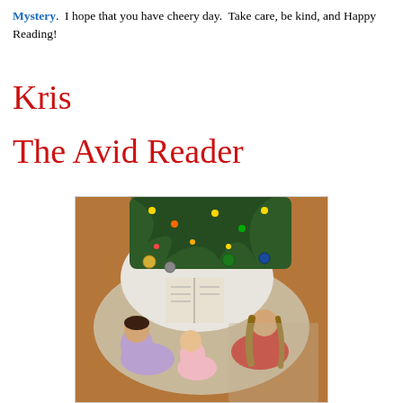Mystery. I hope that you have cheery day. Take care, be kind, and Happy Reading!
Kris
The Avid Reader
[Figure (photo): Three children lying on the floor in pajamas reading a book under a Christmas tree with colorful ornaments and lights]